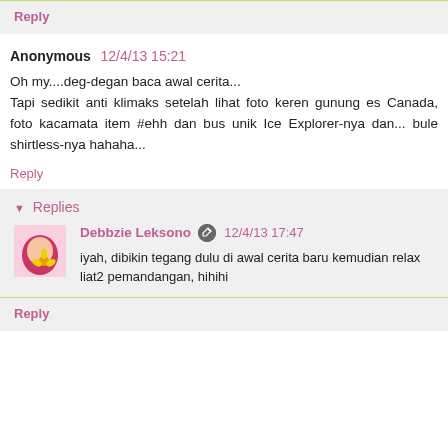Reply
Anonymous 12/4/13 15:21
Oh my....deg-degan baca awal cerita...
Tapi sedikit anti klimaks setelah lihat foto keren gunung es Canada, foto kacamata item #ehh dan bus unik Ice Explorer-nya dan... bule shirtless-nya hahaha...
Reply
Replies
Debbzie Leksono 12/4/13 17:47
iyah, dibikin tegang dulu di awal cerita baru kemudian relax liat2 pemandangan, hihihi
Reply